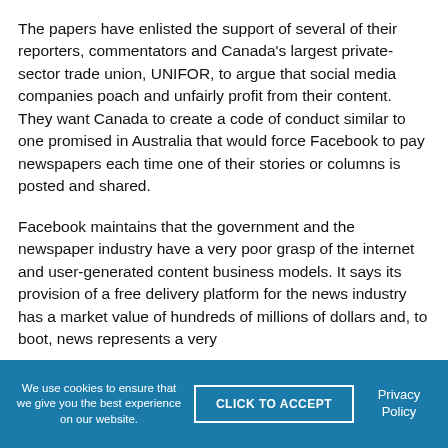The papers have enlisted the support of several of their reporters, commentators and Canada's largest private-sector trade union, UNIFOR, to argue that social media companies poach and unfairly profit from their content. They want Canada to create a code of conduct similar to one promised in Australia that would force Facebook to pay newspapers each time one of their stories or columns is posted and shared.
Facebook maintains that the government and the newspaper industry have a very poor grasp of the internet and user-generated content business models. It says its provision of a free delivery platform for the news industry has a market value of hundreds of millions of dollars and, to boot, news represents a very
We use cookies to ensure that we give you the best experience on our website. CLICK TO ACCEPT Privacy Policy